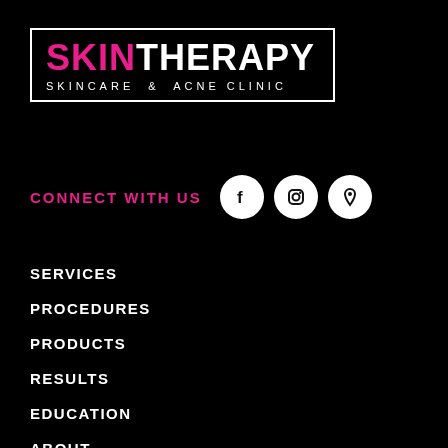[Figure (logo): Skin Therapy Skincare & Acne Clinic logo with pink SKIN and white THERAPY text inside a white border rectangle]
CONNECT WITH US
[Figure (illustration): Three social media icons: Facebook, Instagram, and map pin/location, each in a white circle]
SERVICES
PROCEDURES
PRODUCTS
RESULTS
EDUCATION
ABOUT
RETURNING CLIENTS
ONLINE TREATMENT
PRIVACY POLICY